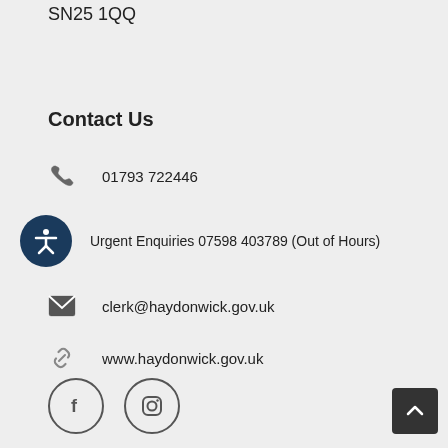SN25 1QQ
Contact Us
01793 722446
Urgent Enquiries 07598 403789 (Out of Hours)
clerk@haydonwick.gov.uk
www.haydonwick.gov.uk